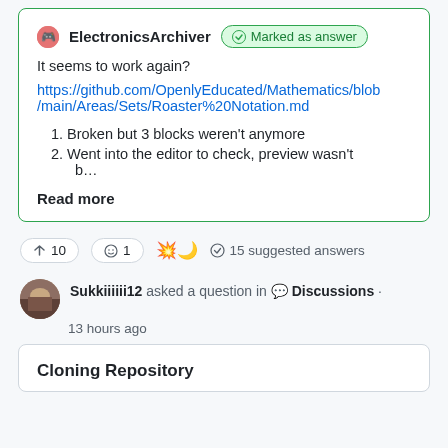ElectronicsArchiver · Marked as answer
It seems to work again?
https://github.com/OpenlyEducated/Mathematics/blob/main/Areas/Sets/Roaster%20Notation.md
Broken but 3 blocks weren't anymore
Went into the editor to check, preview wasn't b…
Read more
↑ 10   ☺ 1   🔥) 15 suggested answers
Sukkiiiiii12 asked a question in 💬 Discussions · 13 hours ago
Cloning Repository